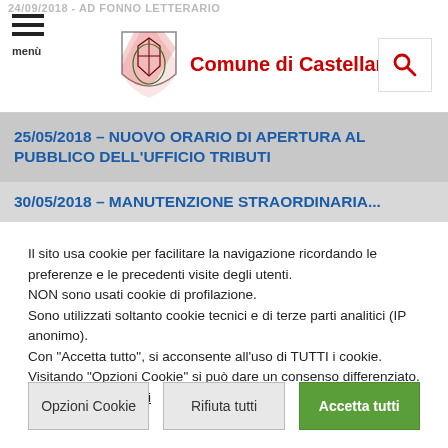Comune di Castellarano
25/05/2018 – NUOVO ORARIO DI APERTURA AL PUBBLICO DELL'UFFICIO TRIBUTI
30/05/2018 – MANUTENZIONE STRAORDINARIA ...
Il sito usa cookie per facilitare la navigazione ricordando le preferenze e le precedenti visite degli utenti.
NON sono usati cookie di profilazione.
Sono utilizzati soltanto cookie tecnici e di terze parti analitici (IP anonimo).
Con "Accetta tutto", si acconsente all'uso di TUTTI i cookie.
Visitando "Opzioni Cookie" si può dare un consenso differenziato.
Ulteriori informazioni